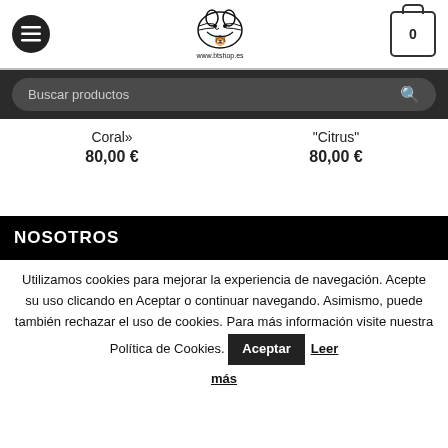www.btshop.es — Navigation header with menu button, logo, and cart (0)
Buscar productos
Coral» 80,00 €
"Citrus" 80,00 €
NOSOTROS
Utilizamos cookies para mejorar la experiencia de navegación. Acepte su uso clicando en Aceptar o continuar navegando. Asimismo, puede también rechazar el uso de cookies. Para más información visite nuestra Política de Cookies. Aceptar Leer más